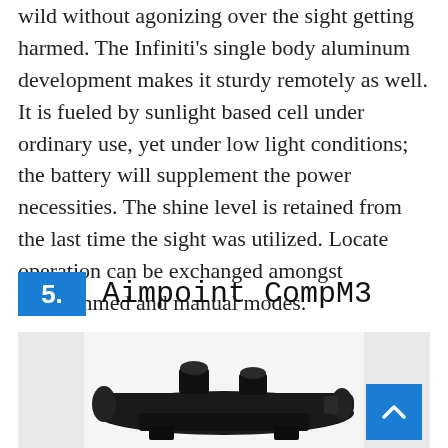wild without agonizing over the sight getting harmed. The Infiniti's single body aluminum development makes it sturdy remotely as well. It is fueled by sunlight based cell under ordinary use, yet under low light conditions; the battery will supplement the power necessities. The shine level is retained from the last time the sight was utilized. Locate operation can be exchanged amongst programmed and manual modes.
5.  Aimpoint CompM3
[Figure (photo): Photo of Aimpoint CompM3 rifle sight/scope, black color, shown against a light gray background]